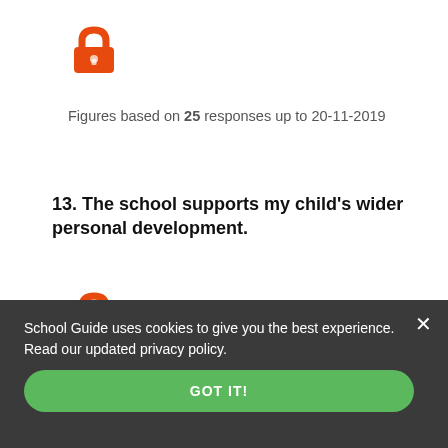[Figure (illustration): Orange open padlock icon]
Figures based on 25 responses up to 20-11-2019
13. The school supports my child's wider personal development.
[Figure (illustration): Orange open padlock icon]
Figures based on 25 responses up to 20-11-2019
School Guide uses cookies to give you the best experience. Read our updated privacy policy.
GOT IT!